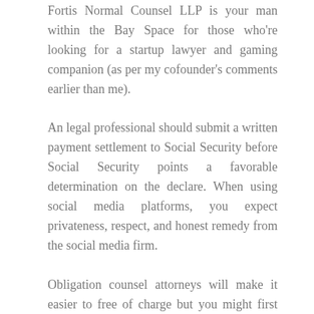Fortis Normal Counsel LLP is your man within the Bay Space for those who're looking for a startup lawyer and gaming companion (as per my cofounder's comments earlier than me).
An legal professional should submit a written payment settlement to Social Security before Social Security points a favorable determination on the declare. When using social media platforms, you expect privateness, respect, and honest remedy from the social media firm.
Obligation counsel attorneys will make it easier to free of charge but you might first have … Read more